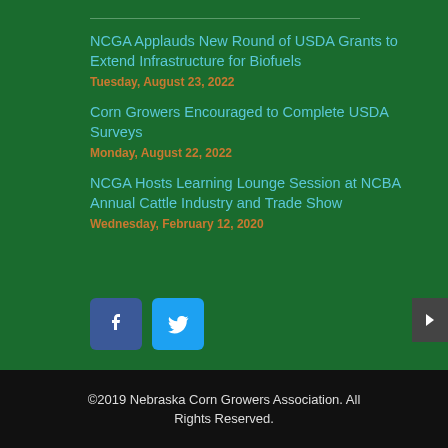NCGA Applauds New Round of USDA Grants to Extend Infrastructure for Biofuels
Tuesday, August 23, 2022
Corn Growers Encouraged to Complete USDA Surveys
Monday, August 22, 2022
NCGA Hosts Learning Lounge Session at NCBA Annual Cattle Industry and Trade Show
Wednesday, February 12, 2020
[Figure (logo): Facebook icon button (blue square with white 'f')]
[Figure (logo): Twitter icon button (light blue square with white bird)]
©2019 Nebraska Corn Growers Association. All Rights Reserved.